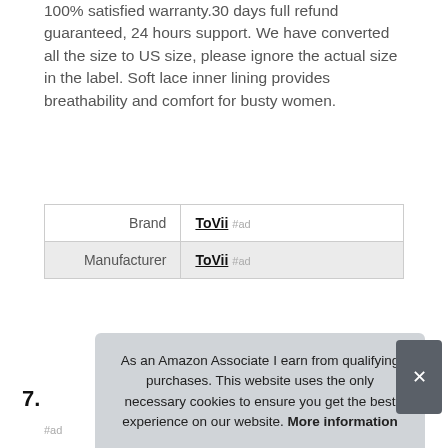100% satisfied warranty.30 days full refund guaranteed, 24 hours support. We have converted all the size to US size, please ignore the actual size in the label. Soft lace inner lining provides breathability and comfort for busty women.
|  |  |
| --- | --- |
| Brand | ToVii #ad |
| Manufacturer | ToVii #ad |
More information #ad
7.
As an Amazon Associate I earn from qualifying purchases. This website uses the only necessary cookies to ensure you get the best experience on our website. More information
#ad